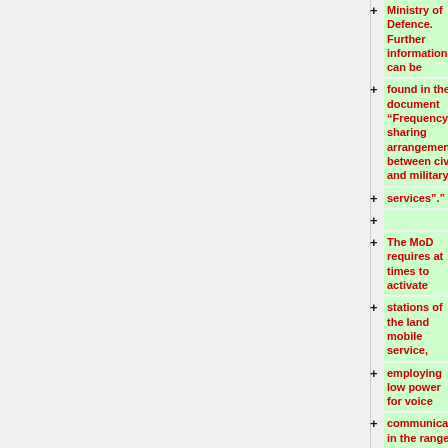Ministry of Defence. Further information can be
found in the document “Frequency sharing arrangements between civil and military
services”.”
The MoD requires at times to activate
stations of the land mobile service,
employing low power for voice
communications, in the range 1.5 - 30.0
MHz. Temporary assignments will be
negotiated directly with Ofcom and the
Departments